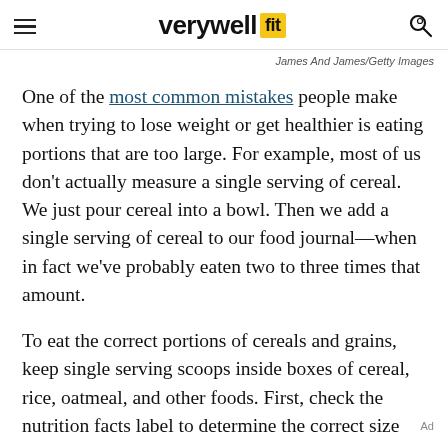verywell fit
James And James/Getty Images
One of the most common mistakes people make when trying to lose weight or get healthier is eating portions that are too large. For example, most of us don't actually measure a single serving of cereal. We just pour cereal into a bowl. Then we add a single serving of cereal to our food journal—when in fact we've probably eaten two to three times that amount.
To eat the correct portions of cereals and grains, keep single serving scoops inside boxes of cereal, rice, oatmeal, and other foods. First, check the nutrition facts label to determine the correct size